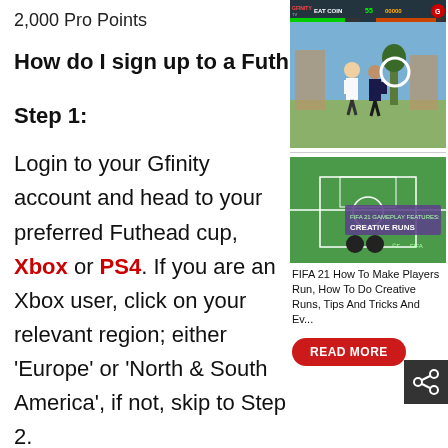2,000 Pro Points
How do I sign up to a Futh
[Figure (screenshot): Gfinity TV screenshot showing a fighting game with two characters, score display and HUD with EAT COIN and score counters]
Step 1:
Login to your Gfinity account and head to your preferred Futhead cup, Xbox or PS4. If you are an Xbox user, click on your relevant region; either ‘Europe’ or ‘North & South America’, if not, skip to Step 2.
[Figure (screenshot): FIFA 21 gameplay screenshot showing creative runs feature on a football pitch with controller overlay]
FIFA 21 How To Make Players Run, How To Do Creative Runs, Tips And Tricks And Ev...
Step 2: